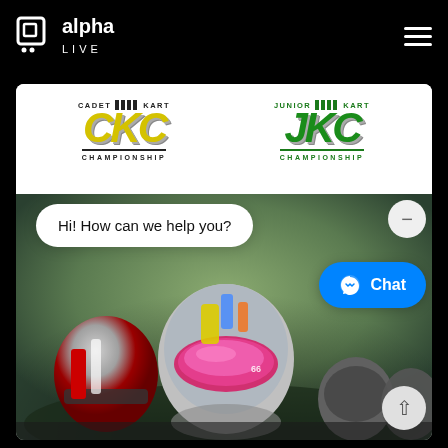[Figure (logo): Alpha Live logo in white on black header bar with hamburger menu icon]
[Figure (logo): CKC Cadet Kart Championship logo in yellow/black and JKC Junior Kart Championship logo in green/black, side by side on white card]
[Figure (photo): Racing kart drivers with helmets on track, blurred green background]
Hi! How can we help you?
Chat